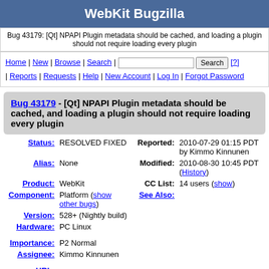WebKit Bugzilla
Bug 43179: [Qt] NPAPI Plugin metadata should be cached, and loading a plugin should not require loading every plugin
Home | New | Browse | Search | [search box] Search [?] | Reports | Requests | Help | New Account | Log In | Forgot Password
Bug 43179 - [Qt] NPAPI Plugin metadata should be cached, and loading a plugin should not require loading every plugin
| Field | Value | Field | Value |
| --- | --- | --- | --- |
| Status: | RESOLVED FIXED | Reported: | 2010-07-29 01:15 PDT by Kimmo Kinnunen |
| Alias: | None | Modified: | 2010-08-30 10:45 PDT (History) |
| Product: | WebKit | CC List: | 14 users (show) |
| Component: | Platform (show other bugs) | See Also: |  |
| Version: | 528+ (Nightly build) |  |  |
| Hardware: | PC Linux |  |  |
| Importance: | P2 Normal |  |  |
| Assignee: | Kimmo Kinnunen |  |  |
| URL: |  |  |  |